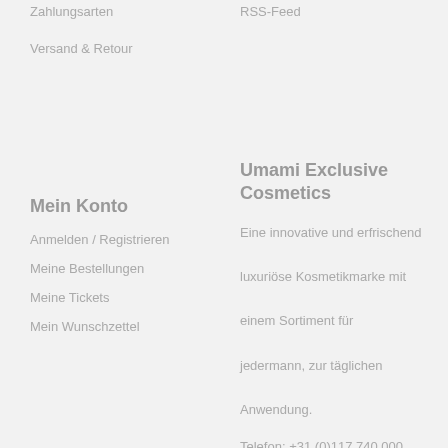Zahlungsarten
RSS-Feed
Versand & Retour
Mein Konto
Anmelden / Registrieren
Meine Bestellungen
Meine Tickets
Mein Wunschzettel
Umami Exclusive Cosmetics
Eine innovative und erfrischend luxuriöse Kosmetikmarke mit einem Sortiment für jedermann, zur täglichen Anwendung.
Telefon: +31 (0)117 740 000
Mail: